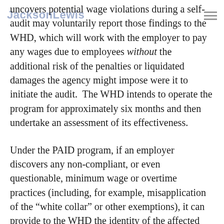JacksonLewis [hamburger menu]
uncovers potential wage violations during a self-audit may voluntarily report those findings to the WHD, which will work with the employer to pay any wages due to employees without the additional risk of the penalties or liquidated damages the agency might impose were it to initiate the audit.  The WHD intends to operate the program for approximately six months and then undertake an assessment of its effectiveness.
Under the PAID program, if an employer discovers any non-compliant, or even questionable, minimum wage or overtime practices (including, for example, misapplication of the “white collar” or other exemptions), it can provide to the WHD the identity of the affected employee(s), the relevant timeframe and a calculation of the wages owed.  The WHD may